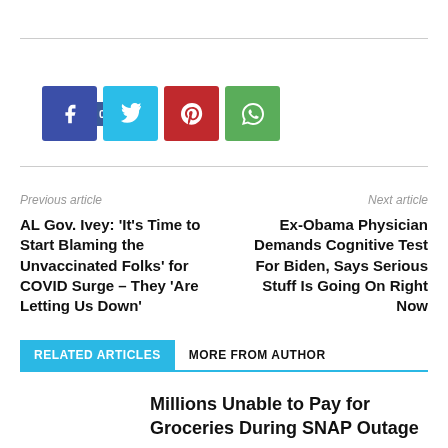[Figure (other): Social share buttons: Like button (Facebook blue), Facebook icon (dark blue), Twitter icon (cyan), Pinterest icon (red), WhatsApp icon (green)]
Previous article
Next article
AL Gov. Ivey: 'It's Time to Start Blaming the Unvaccinated Folks' for COVID Surge – They 'Are Letting Us Down'
Ex-Obama Physician Demands Cognitive Test For Biden, Says Serious Stuff Is Going On Right Now
RELATED ARTICLES
MORE FROM AUTHOR
Millions Unable to Pay for Groceries During SNAP Outage